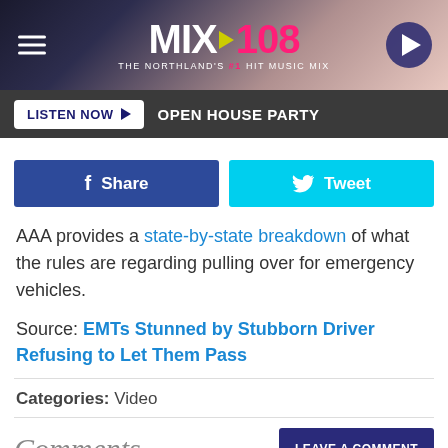MIX 108 THE NORTHLAND'S #1 HIT MUSIC MIX
LISTEN NOW | OPEN HOUSE PARTY
Share | Tweet
AAA provides a state-by-state breakdown of what the rules are regarding pulling over for emergency vehicles.
Source: EMTs Stunned by Stubborn Driver Refusing to Let Them Pass
Categories: Video
Comments
LEAVE A COMMENT